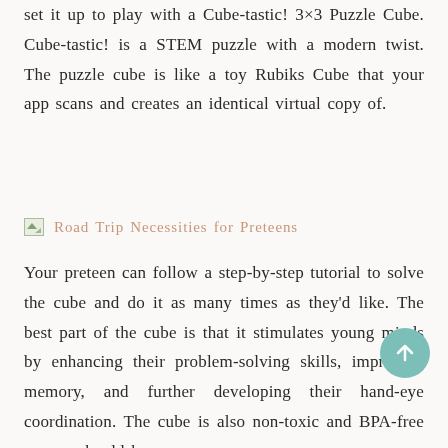set it up to play with a Cube-tastic! 3×3 Puzzle Cube. Cube-tastic! is a STEM puzzle with a modern twist. The puzzle cube is like a toy Rubiks Cube that your app scans and creates an identical virtual copy of.
[Figure (other): Broken image placeholder followed by link text 'Road Trip Necessities for Preteens' in salmon/rose colored text]
Your preteen can follow a step-by-step tutorial to solve the cube and do it as many times as they'd like. The best part of the cube is that it stimulates young minds by enhancing their problem-solving skills, improving memory, and further developing their hand-eye coordination. The cube is also non-toxic and BPA-free so you should have no concerns